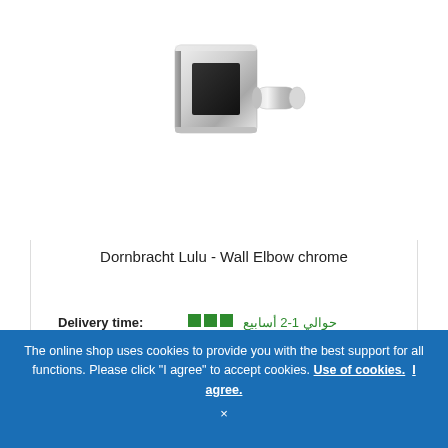[Figure (photo): Dornbracht Lulu Wall Elbow chrome product photo — a square chrome wall mount with a cylindrical elbow fitting extending to the right]
Dornbracht Lulu - Wall Elbow chrome
Delivery time: ■■■ حوالي 1-2 أسابيع
Article no.: 28450710-00
ADD TO CART
The online shop uses cookies to provide you with the best support for all functions. Please click "I agree" to accept cookies. Use of cookies. I agree.
×